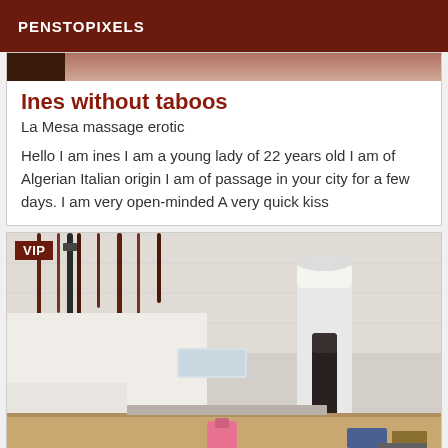PENSTOPIXELS
[Figure (photo): Partial photo strip at top of card, showing dark tones]
Ines without taboos
La Mesa massage erotic
Hello I am ines I am a young lady of 22 years old I am of Algerian Italian origin I am of passage in your city for a few days. I am very open-minded A very quick kiss
[Figure (photo): Room photo showing a massage/bedroom scene with various objects including a dark cylindrical object, pink item, and tools on a wooden surface. A VIP badge is in the top-left corner.]